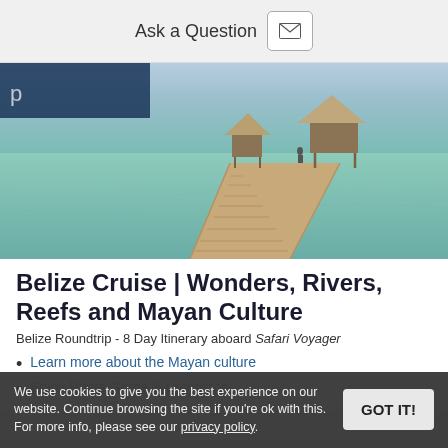Ask a Question
[Figure (photo): A wooden pier extending over calm turquoise water toward thatched-roof huts, tropical coastal scene in Belize]
Belize Cruise | Wonders, Rivers, Reefs and Mayan Culture
Belize Roundtrip - 8 Day Itinerary aboard Safari Voyager
Learn more about the Mayan culture
Enjoy Punta Gorda & Livingston
We use cookies to give you the best experience on our website. Continue browsing the site if you're ok with this. For more info, please see our privacy policy.